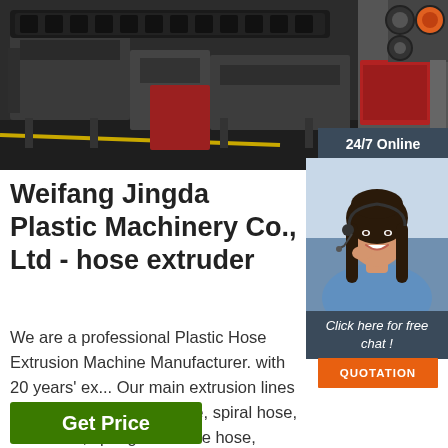[Figure (photo): Industrial plastic hose extrusion machinery in a factory setting, showing dark metal frames and a conveyor/track system with a yellow stripe on the floor]
[Figure (photo): Small inset photo of rollers/drums machinery component in the top right corner]
24/7 Online
[Figure (photo): Customer service representative woman wearing a headset, smiling, in a blue shirt]
Click here for free chat !
QUOTATION
Weifang Jingda Plastic Machinery Co., Ltd - hose extruder
We are a professional Plastic Hose Extrusion Machine Manufacturer. with 20 years' ex... Our main extrusion lines are for making layflat hose, spiral hose, fiber hose, spring steel wire hose, corrugated pipe, coil mat, artificial grass, EVA mattress and many other kinds of …
Get Price